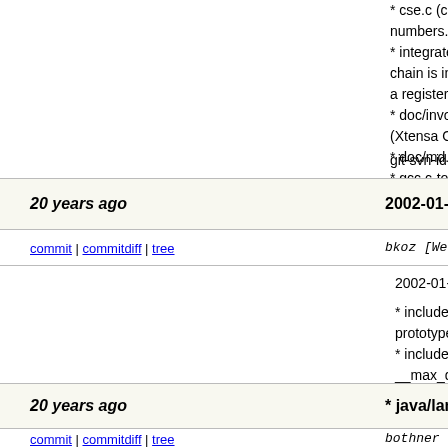* cse.c (canon_hash): Compare rtx pointers instead of using hash numbers. This is required for the Xtensa port.
* integrate.c (copy_insn_list): Handle case where an insn chain is in memory and the memory address is assigned to a register.
* doc/invoke.texi (Option Summary): Add Xtensa options. (Xtensa Options): New node.
* doc/md.texi (Machine Constraints): Add Xtensa constraints.
* gcc.c-torture/compile/20001226-1.x: xfail for Xtensa.
git-svn-id: svn+ssh://gcc.gnu.org/svn/gcc/trunk@4
20 years ago
2002-01-23 Benjamin Kosnik <bkoz@redhat.co
commit | commitdiff | tree
bkoz [Wed, 23 Jan 2002 20:38:59 +0000 (2
2002-01-23  Benjamin Kosnik  <bkoz@redhat.com>

* include/bits/locale_facets.h (num_get::_M_extract_): Fix prototype.
* include/bits/locale_facets.tcc (num_get::_M_extract_): Use __max_digits checks, adjust arguments.
(num_get::do_get(*)): Changeup.

git-svn-id: svn+ssh://gcc.gnu.org/svn/gcc/trunk@4
20 years ago
* java/lang/reflect/natField.cc (setAddr): New fu
commit | commitdiff | tree
bothner [Wed, 23 Jan 2002 19:42:18 +0000